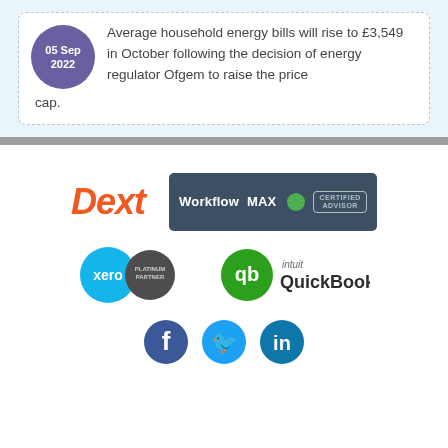05 Sep 2022 — Average household energy bills will rise to £3,549 in October following the decision of energy regulator Ofgem to raise the price cap.
[Figure (logo): Dext logo (orange italic text) and WorkflowMax Certified Advisor badge]
[Figure (logo): Xero Platinum Partner badge and Intuit QuickBooks logo]
[Figure (logo): Facebook, Twitter (X), and LinkedIn social media icons]